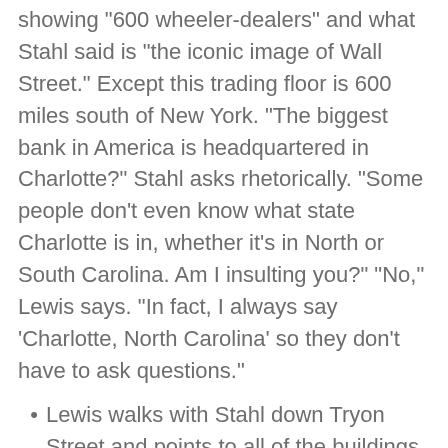showing "600 wheeler-dealers" and what Stahl said is "the iconic image of Wall Street." Except this trading floor is 600 miles south of New York. "The biggest bank in America is headquartered in Charlotte?" Stahl asks rhetorically. "Some people don't even know what state Charlotte is in, whether it's in North or South Carolina. Am I insulting you?" "No," Lewis says. "In fact, I always say 'Charlotte, North Carolina' so they don't have to ask questions."
Lewis walks with Stahl down Tryon Street and points to all of the buildings BofA owns. "This building, that building, that building, that building..."
"We didn't like being small. There's nothing really attractive about being small," says former BofA CEO Hugh McColl. He's then asked if he felt like New York used to treat him and his bank like country bumpkins. And he basically says he wasn't trying to take over New York; he wanted to